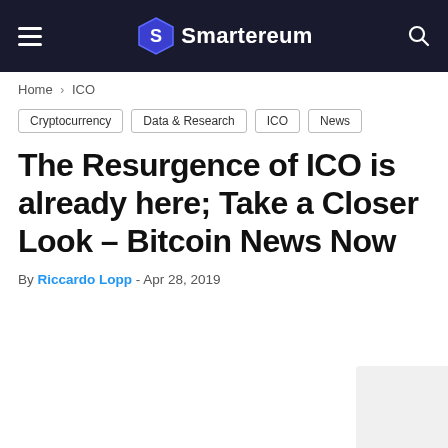Smartereum
Home › ICO
Cryptocurrency
Data & Research
ICO
News
The Resurgence of ICO is already here; Take a Closer Look – Bitcoin News Now
By Riccardo Lopp - Apr 28, 2019